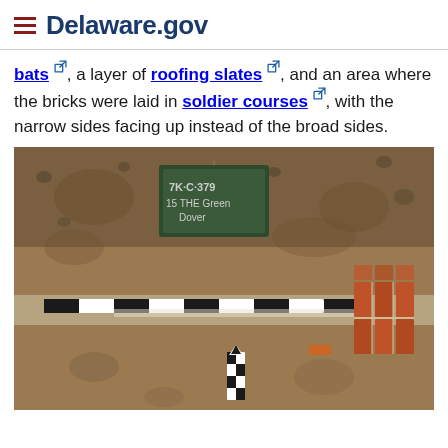Delaware.gov
bats, a layer of roofing slates, and an area where the bricks were laid in soldier courses, with the narrow sides facing up instead of the broad sides.
[Figure (photo): Archaeological excavation photo showing a dig site with a chalkboard sign reading '7K-C-379 15 THE GREEN DOVER', a horizontal black-and-white measuring rod, a vertical checkered scale marker, and brick soldier courses visible on the right side of the excavation.]